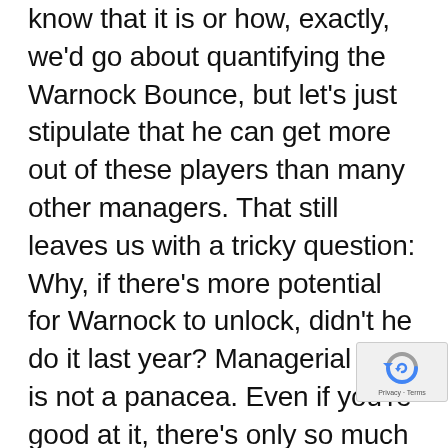know that it is or how, exactly, we'd go about quantifying the Warnock Bounce, but let's just stipulate that he can get more out of these players than many other managers. That still leaves us with a tricky question: Why, if there's more potential for Warnock to unlock, didn't he do it last year? Managerial nous is not a panacea. Even if you're good at it, there's only so much you can get out of any player. This is not like a game where a good manager adds +10xp to each player at the start of every season. Cardiff got this far by performing near most of its players' upper limits. It's not a knock on Warnock to suggest that he's unlikely to make a convincing Premier League team out of this bunch. Is help coming in the transfer
[Figure (other): reCAPTCHA badge with blue and grey circular arrow logo and Privacy - Terms text]